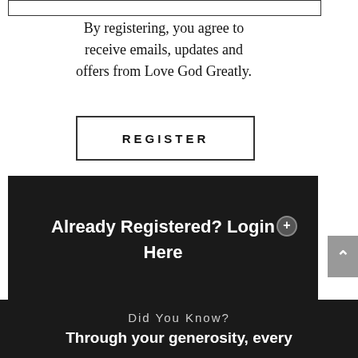By registering, you agree to receive emails, updates and offers from Love God Greatly.
REGISTER
Already Registered? Login Here
Did You Know?
Through your generosity, every